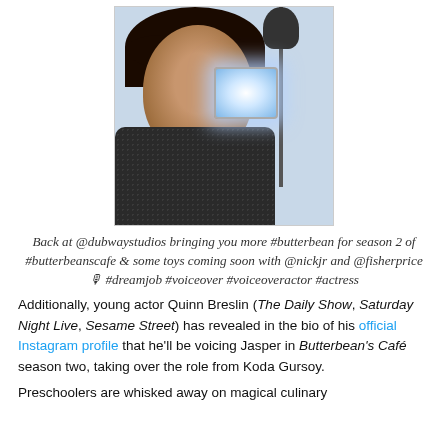[Figure (photo): A woman with dark hair and bangs smiling in what appears to be a recording studio, with a microphone and bright LED light panel visible in the background.]
Back at @dubwaystudios bringing you more #butterbean for season 2 of #butterbeanscafe & some toys coming soon with @nickjr and @fisherprice 🎙 #dreamjob #voiceover #voiceoveractor #actress
Additionally, young actor Quinn Breslin (The Daily Show, Saturday Night Live, Sesame Street) has revealed in the bio of his official Instagram profile that he'll be voicing Jasper in Butterbean's Café season two, taking over the role from Koda Gursoy.
Preschoolers are whisked away on magical culinary